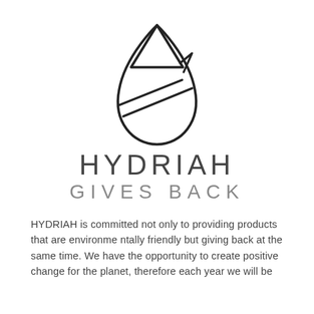[Figure (logo): Hydriah water drop logo: an outlined teardrop shape with a diagonal line across the lower circle portion and a triangle at the top, line art in dark gray/black]
HYDRIAH
GIVES BACK
HYDRIAH is committed not only to providing products that are environmentally friendly but giving back at the same time. We have the opportunity to create positive change for the planet, therefore each year we will be